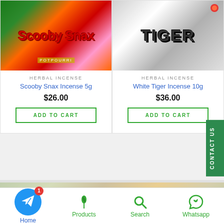[Figure (photo): Scooby Snax herbal incense product package with red cartoon character and green background]
HERBAL INCENSE
Scooby Snax Incense 5g
$26.00
ADD TO CART
[Figure (photo): White Tiger herbal incense product package with white and black tiger graphic]
HERBAL INCENSE
White Tiger Incense 10g
$36.00
ADD TO CART
CONTACT US
[Figure (photo): Blurred banner image with green and warm gradient colors]
Home
Products
Search
Whatsapp